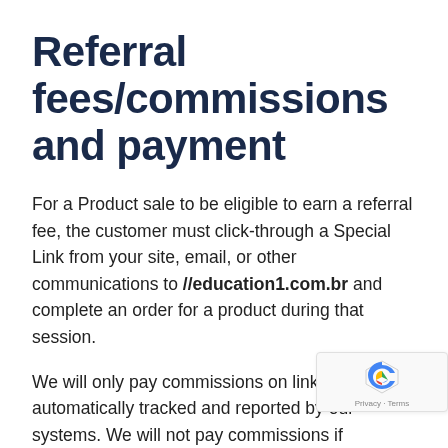Referral fees/commissions and payment
For a Product sale to be eligible to earn a referral fee, the customer must click-through a Special Link from your site, email, or other communications to //education1.com.br and complete an order for a product during that session.
We will only pay commissions on links that are automatically tracked and reported by our systems. We will not pay commissions if someone says purchased or someone says they entered a re code if it was not tracked by our system. We can